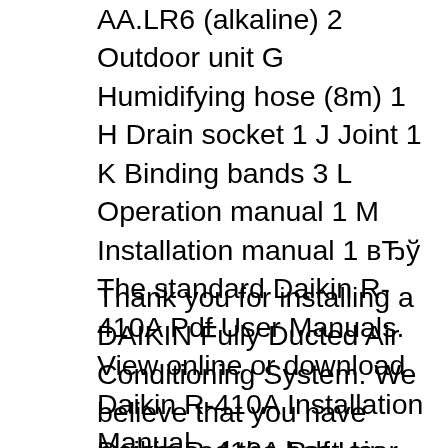AA.LR6 (alkaline) 2 Outdoor unit G Humidifying hose (8m) 1 H Drain socket 1 J Joint 1 K Binding bands 3 L Operation manual 1 M Installation manual 1 вЂў The standard Daikin R-410A Pdf User Manuals. View online or download Daikin R-410A Installation Manual
Thank you for installing a DAIKIN Fully Ducted Air Conditioning System. We believe that you have purchased the best air conditioning system available. Before operating the air conditioner please read this operating manual carefully. It will advise you on how to operate the unit correctly, understand the air conditionerвЂ™s advanced Daikin R-410A Pdf User Manuals View...